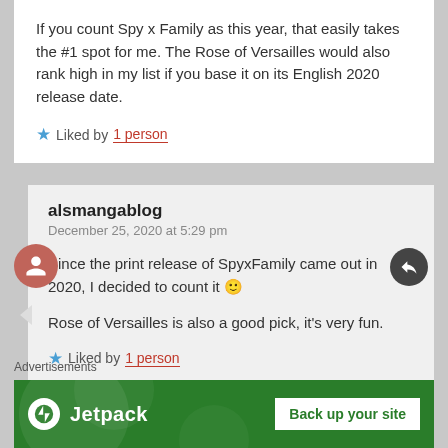If you count Spy x Family as this year, that easily takes the #1 spot for me. The Rose of Versailles would also rank high in my list if you base it on its English 2020 release date.
Liked by 1 person
alsmangablog
December 25, 2020 at 5:29 pm
Since the print release of SpyxFamily came out in 2020, I decided to count it 🙂
Rose of Versailles is also a good pick, it's very fun.
Liked by 1 person
Advertisements
[Figure (screenshot): Jetpack advertisement banner with green background showing Jetpack logo and 'Back up your site' button]